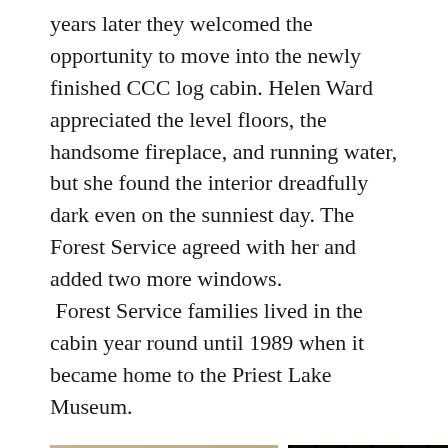years later they welcomed the opportunity to move into the newly finished CCC log cabin. Helen Ward appreciated the level floors, the handsome fireplace, and running water, but she found the interior dreadfully dark even on the sunniest day. The Forest Service agreed with her and added two more windows. Forest Service families lived in the cabin year round until 1989 when it became home to the Priest Lake Museum.
[Figure (photo): Interior photo showing a person leaning over in what appears to be a cabin kitchen with wooden cabinets]
[Figure (photo): Interior photo showing window frames with warm amber/orange light coming through, likely a lamp or sunset visible through cabin windows]